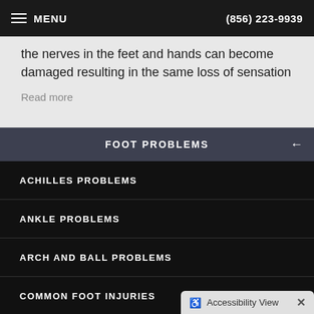MENU  (856) 223-9939
the nerves in the feet and hands can become damaged resulting in the same loss of sensation
Read more
FOOT PROBLEMS
ACHILLES PROBLEMS
ANKLE PROBLEMS
ARCH AND BALL PROBLEMS
COMMON FOOT INJURIES
DEFORMITIES
Accessibility View